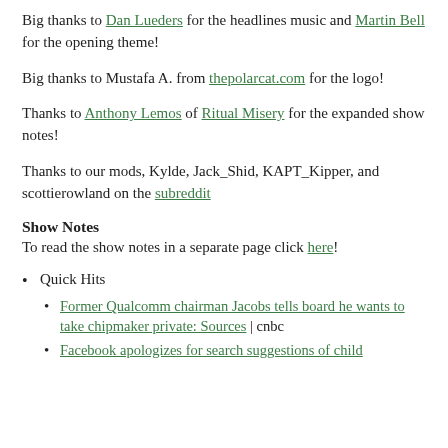Big thanks to Dan Lueders for the headlines music and Martin Bell for the opening theme!
Big thanks to Mustafa A. from thepolarcat.com for the logo!
Thanks to Anthony Lemos of Ritual Misery for the expanded show notes!
Thanks to our mods, Kylde, Jack_Shid, KAPT_Kipper, and scottierowland on the subreddit
Show Notes
To read the show notes in a separate page click here!
Quick Hits
Former Qualcomm chairman Jacobs tells board he wants to take chipmaker private: Sources | cnbc
Facebook apologizes for search suggestions of child